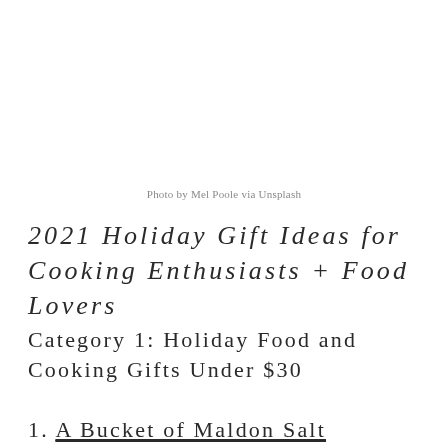Photo by Mel Poole via Unsplash
2021 Holiday Gift Ideas for Cooking Enthusiasts + Food Lovers
Category 1: Holiday Food and Cooking Gifts Under $30
1. A Bucket of Maldon Salt